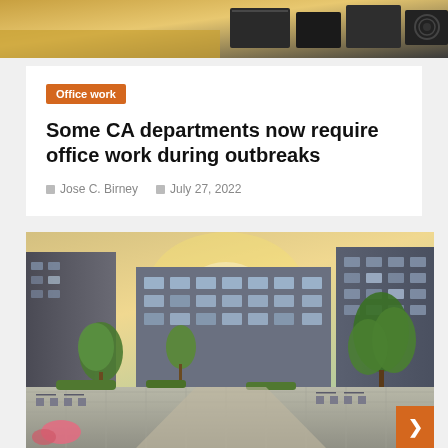[Figure (photo): Top portion of a photo showing office equipment on a desk, partially cropped]
Office work
Some CA departments now require office work during outbreaks
Jose C. Birney   July 27, 2022
[Figure (photo): Modern office campus courtyard with glass buildings, trees, and outdoor seating area]